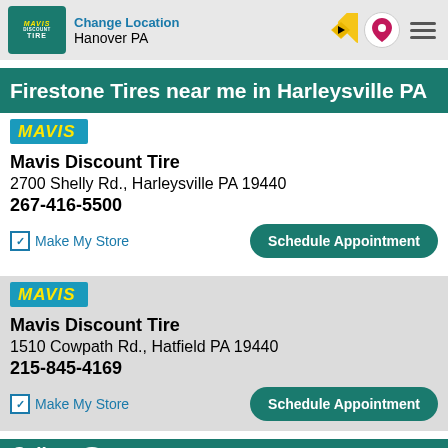Change Location Hanover PA
Firestone Tires near me in Harleysville PA
Mavis Discount Tire
2700 Shelly Rd., Harleysville PA 19440
267-416-5500
Make My Store
Schedule Appointment
Mavis Discount Tire
1510 Cowpath Rd., Hatfield PA 19440
215-845-4169
Make My Store
Schedule Appointment
Call Store